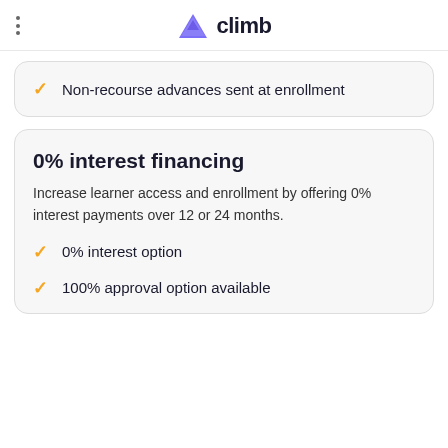[Figure (logo): Climb logo with purple mountain icon and bold 'climb' text]
Non-recourse advances sent at enrollment
0% interest financing
Increase learner access and enrollment by offering 0% interest payments over 12 or 24 months.
0% interest option
100% approval option available